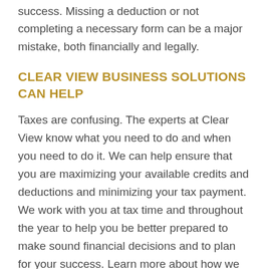success. Missing a deduction or not completing a necessary form can be a major mistake, both financially and legally.
CLEAR VIEW BUSINESS SOLUTIONS CAN HELP
Taxes are confusing. The experts at Clear View know what you need to do and when you need to do it. We can help ensure that you are maximizing your available credits and deductions and minimizing your tax payment. We work with you at tax time and throughout the year to help you be better prepared to make sound financial decisions and to plan for your success. Learn more about how we can